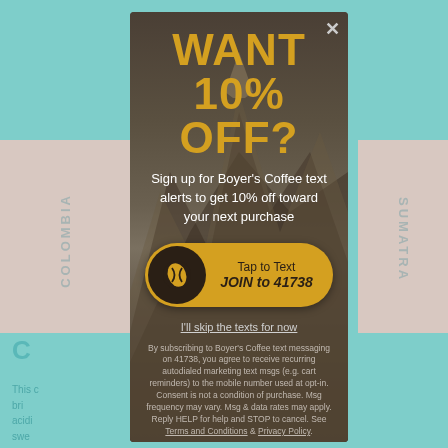WANT 10% OFF?
Sign up for Boyer's Coffee text alerts to get 10% off toward your next purchase
Tap to Text JOIN to 41738
I'll skip the texts for now
By subscribing to Boyer's Coffee text messaging on 41738, you agree to receive recurring autodialed marketing text msgs (e.g. cart reminders) to the mobile number used at opt-in. Consent is not a condition of purchase. Msg frequency may vary. Msg & data rates may apply. Reply HELP for help and STOP to cancel. See Terms and Conditions & Privacy Policy.